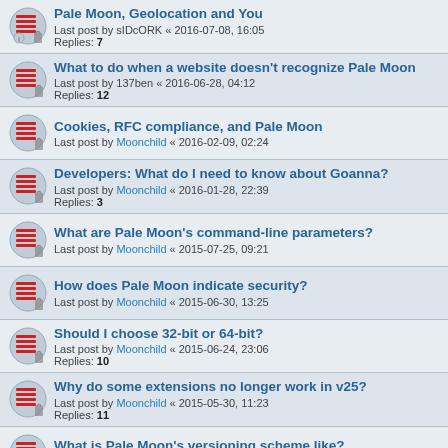Pale Moon, Geolocation and You
Last post by sIDcORK « 2016-07-08, 16:05
Replies: 7
What to do when a website doesn't recognize Pale Moon
Last post by 137ben « 2016-06-28, 04:12
Replies: 12
Cookies, RFC compliance, and Pale Moon
Last post by Moonchild « 2016-02-09, 02:24
Developers: What do I need to know about Goanna?
Last post by Moonchild « 2016-01-28, 22:39
Replies: 3
What are Pale Moon's command-line parameters?
Last post by Moonchild « 2015-07-25, 09:21
How does Pale Moon indicate security?
Last post by Moonchild « 2015-06-30, 13:25
Should I choose 32-bit or 64-bit?
Last post by Moonchild « 2015-06-24, 23:06
Replies: 10
Why do some extensions no longer work in v25?
Last post by Moonchild « 2015-05-30, 11:23
Replies: 11
What is Pale Moon's versioning scheme like?
Last post by Moonchild « 2014-11-12, 11:45
Is Pale Moon up-to-date?
Last post by Daikun « 2014-09-12, 00:21
Replies: 4